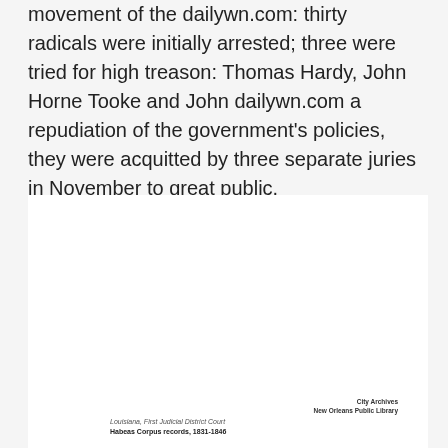movement of the dailywn.com: thirty radicals were initially arrested; three were tried for high treason: Thomas Hardy, John Horne Tooke and John dailywn.com a repudiation of the government's policies, they were acquitted by three separate juries in November to great public.
[Figure (other): Scanned document image: City Archives, New Orleans Public Library. Louisiana, First Judicial District Court, Habeas Corpus records, 1831-1846. Contains descriptive text about the Code of Practice in Civil Cases and a table listing habeas corpus cases with columns: Petitioner, Docket Number, Year, Comments.]
| Petitioner | Docket Number | Year | Comments |
| --- | --- | --- | --- |
| 34 | James McCabe | 1831 |  |
| 35 | James Mitchell | 1833 | Seeking the return of his infant daughter |
| 13a | Michael Flynn, James Myers, John Fitzgerald, Patrick O'Brien | 1838 |  |
| 13b | Spencer Logan | 1838 | A negro boy who once lived in France |
| 13 | Martin Dietz | 1838 | Attempting to have his daughter released from an indecent situation with another individual |
| 40 | Robert Mitchell | 1838 |  |
| 17 | James Cassedy | 1838 | Attempting to secure the release of a boy, of whom he had temporary custody, from another individual |
| 18 | D.F.J. Slaney | 1837 |  |
| 20 | Thomas Wharton Collins | 1838 | Collins: Deputy clerk of the U.S. circuit court... |